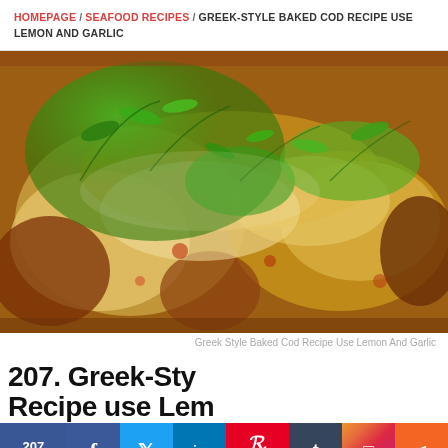HOMEPAGE / SEAFOOD RECIPES / GREEK-STYLE BAKED COD RECIPE USE LEMON AND GARLIC
[Figure (photo): Close-up photo of Greek-style baked cod fillets topped with chopped fresh herbs (cilantro/parsley), with a golden-brown crust and garlic lemon topping, on a baking dish.]
Greek Style Baked Cod Recipe Use Lemon And Garlic
207. Greek-Style Baked Cod Recipe use Lemon and Garlic